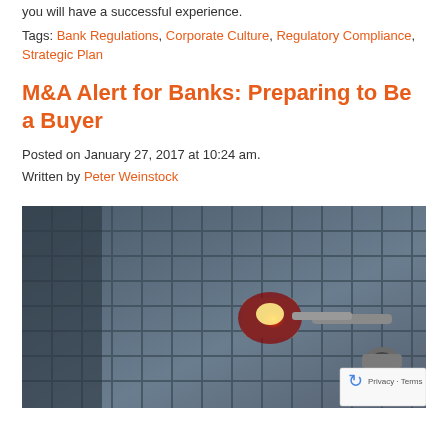you will have a successful experience.
Tags: Bank Regulations, Corporate Culture, Regulatory Compliance, Strategic Plan
M&A Alert for Banks: Preparing to Be a Buyer
Posted on January 27, 2017 at 10:24 am.
Written by Peter Weinstock
[Figure (photo): A red warning/alarm light mounted on a metal grid structure, photographed in a dark blue-gray tone with the red lamp glowing prominently in the center-right of the image.]